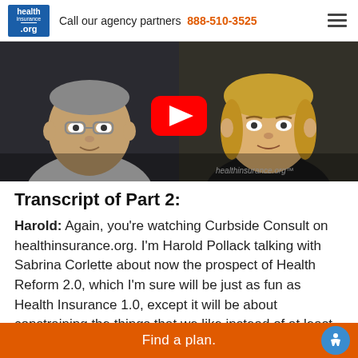health insurance .org — Call our agency partners 888-510-3525
[Figure (screenshot): Video thumbnail showing two people — a man with glasses on the left and a woman with blonde hair on the right — with a YouTube play button overlay and healthinsurance.org watermark]
Transcript of Part 2:
Harold: Again, you're watching Curbside Consult on healthinsurance.org. I'm Harold Pollack talking with Sabrina Corlette about now the prospect of Health Reform 2.0, which I'm sure will be just as fun as Health Insurance 1.0, except it will be about constraining the things that we like instead of at least offering some people something they
Find a plan.